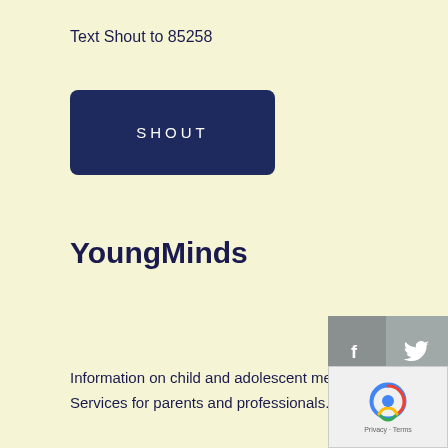Text Shout to 85258
[Figure (other): Dark navy blue rectangular button with text SHOUT in white spaced letters]
YoungMinds
[Figure (other): Social media icons: Facebook (f) and Twitter bird icon on grey background]
Information on child and adolescent mental health. Services for parents and professionals.
Phone: Parents' helpline 0808 802 5544 (Monday to Friday, 9.30am to 4pm)
[Figure (other): Dark navy blue rectangular button with text YOUNG MINDS in white spaced letters]
[Figure (other): reCAPTCHA widget with Google logo, Privacy and Terms text]